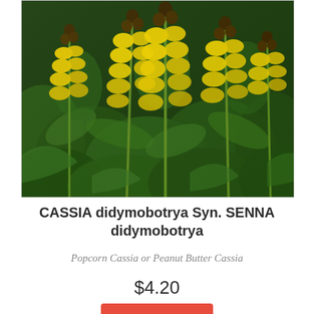[Figure (photo): Close-up photograph of Cassia didymobotrya (Popcorn Cassia) showing tall yellow flower spikes with dark brown buds at the top, against a background of green foliage.]
CASSIA didymobotrya Syn. SENNA didymobotrya
Popcorn Cassia or Peanut Butter Cassia
$4.20